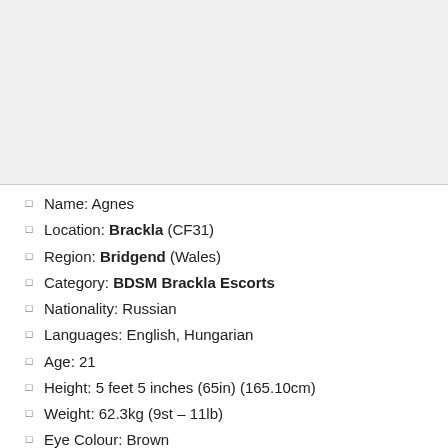[Figure (photo): Profile photo placeholder area (grey background)]
Name: Agnes
Location: Brackla (CF31)
Region: Bridgend (Wales)
Category: BDSM Brackla Escorts
Nationality: Russian
Languages: English, Hungarian
Age: 21
Height: 5 feet 5 inches (65in) (165.10cm)
Weight: 62.3kg (9st – 11lb)
Eye Colour: Brown